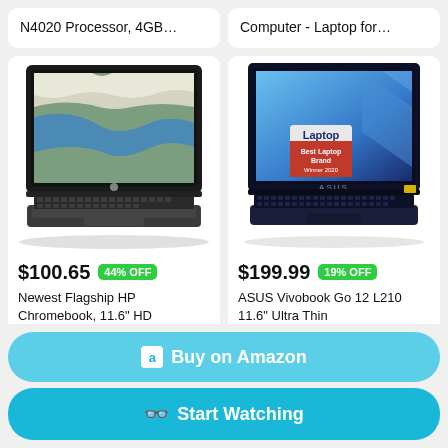N4020 Processor, 4GB...
Computer - Laptop for...
[Figure (photo): HP Chromebook laptop open, showing satellite/map image on screen, dark gray body with keyboard]
[Figure (photo): ASUS Vivobook Go 12 L210 laptop open, blue gradient on screen, with Laptop Best Laptop Brand Winner 2020 badge sticker, dark navy body]
$100.65 44% OFF
Newest Flagship HP Chromebook, 11.6" HD
$199.99 19% OFF
ASUS Vivobook Go 12 L210 11.6" Ultra Thin
Buy on Amazon
Start Watching